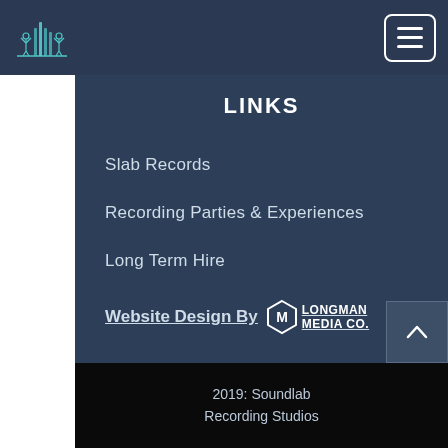[Figure (logo): Soundlab Recording Studios logo — stylized cityscape/audio waveform with figures, teal/cyan color on dark blue background]
[Figure (other): Hamburger menu button — three horizontal white lines in a rounded white-bordered rectangle]
LINKS
Slab Records
Recording Parties & Experiences
Long Term Hire
Website Design By  LONGMAN MEDIA CO.
[Figure (logo): Longman Media Co. logo — white hexagon/house icon with stylized M, text LONGMAN MEDIA CO.]
[Figure (other): Back to top button — caret/chevron up arrow in dark blue square]
2019: Soundlab
Recording Studios